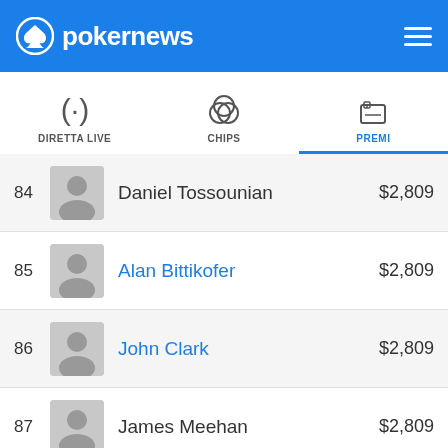pokernews
DIRETTA LIVE | CHIPS | PREMI
| # | Name | Prize |
| --- | --- | --- |
| 84 | Daniel Tossounian | $2,809 |
| 85 | Alan Bittikofer | $2,809 |
| 86 | John Clark | $2,809 |
| 87 | James Meehan | $2,809 |
| 88 | Jeffrey Shulman | $2,809 |